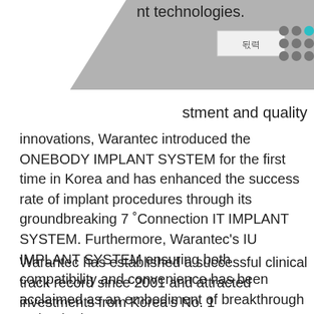nt technologies.
[Figure (other): Gray diagonal banner with a Korean text box and teal dot grid logo in the top-right corner]
stment and quality innovations, Warantec introduced the ONEBODY IMPLANT SYSTEM for the first time in Korea and has enhanced the success rate of implant procedures through its groundbreaking 7 °Connection IT IMPLANT SYSTEM. Furthermore, Warantec's IU IMPLANT SYSTEM ensuring both compatibility and convenience has been acclaimed as an embodiment of breakthrough technologies.
Warantec has established a successful clinical track record since 2001 and attracted investments from Korea's No. 1 pharmaceutical company Yuhan Corporation and global No. 1 implant company